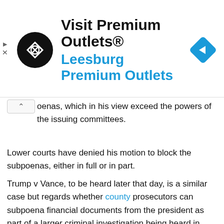[Figure (other): Advertisement banner for Visit Premium Outlets® / Leesburg Premium Outlets with circular logo and blue diamond navigation icon]
oenas, which in his view exceed the powers of the issuing committees.
Lower courts have denied his motion to block the subpoenas, either in full or in part.
Trump v Vance, to be heard later that day, is a similar case but regards whether county prosecutors can subpoena financial documents from the president as part of a larger criminal investigation being heard in front of a grand jury under a state's jurisdiction.
The case involves questions of federal vs state authority, as well as the high bar to which criminal investigations against a